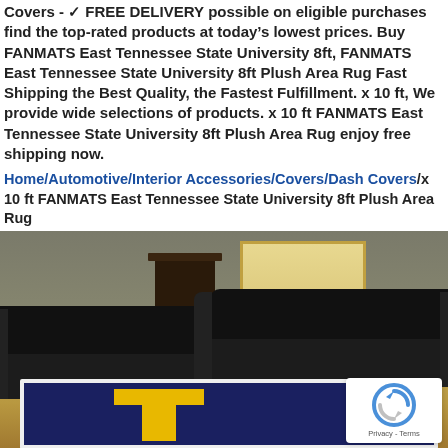Covers - ✓ FREE DELIVERY possible on eligible purchases find the top-rated products at today's lowest prices. Buy FANMATS East Tennessee State University 8ft, FANMATS East Tennessee State University 8ft Plush Area Rug Fast Shipping the Best Quality, the Fastest Fulfillment. x 10 ft, We provide wide selections of products. x 10 ft FANMATS East Tennessee State University 8ft Plush Area Rug enjoy free shipping now.
Home/Automotive/Interior Accessories/Covers/Dash Covers/x 10 ft FANMATS East Tennessee State University 8ft Plush Area Rug
[Figure (photo): Room scene showing two dark leather sofas on a hardwood floor with a navy blue and gold FANMATS East Tennessee State University area rug. A reCAPTCHA badge is visible in the bottom right corner.]